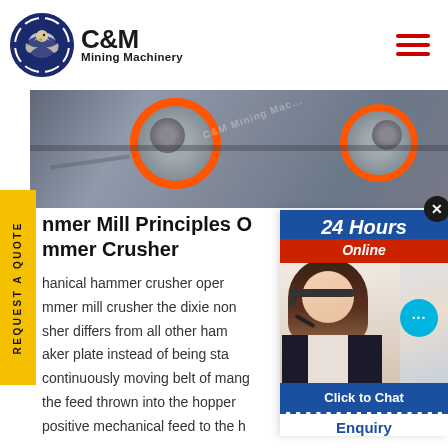[Figure (logo): C&M Mining Machinery logo with eagle in gear circle, navy blue]
[Figure (photo): Industrial mining machinery with orange-ringed circular components]
Hammer Mill Principles Of Hammer Crusher
mechanical hammer crusher operates... hammer mill crusher the dixie nond... sher differs from all other hamm... aker plate instead of being stat... continuously moving belt of mango... the feed thrown into the hopper is... positive mechanical feed to the ha...
[Figure (screenshot): 24 Hours Online customer service chat widget with agent photo, Click to Chat button, and Enquiry label]